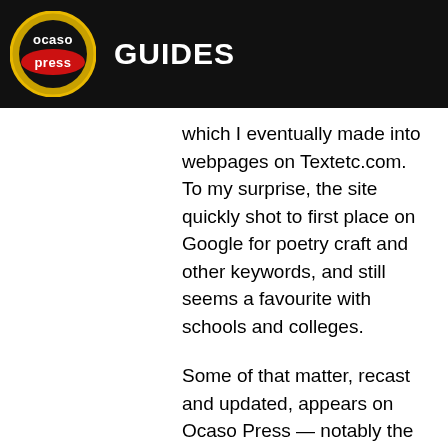Ocaso Press GUIDES
which I eventually made into webpages on Textetc.com. To my surprise, the site quickly shot to first place on Google for poetry craft and other keywords, and still seems a favourite with schools and colleges.
Some of that matter, recast and updated, appears on Ocaso Press — notably the ebooks on Critical Theory and Verse Writing — but this site is really for literary work, plus articles that take the first enquiry further. Recently, I've added brief surveys on the founders of